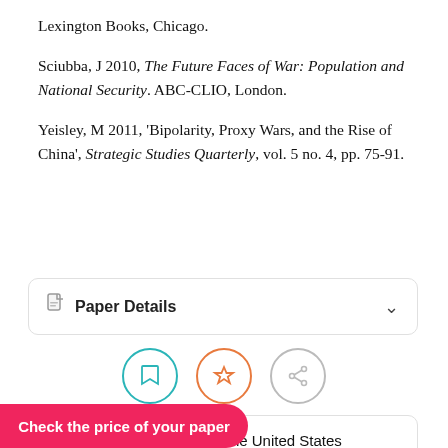Lexington Books, Chicago.
Sciubba, J 2010, The Future Faces of War: Population and National Security. ABC-CLIO, London.
Yeisley, M 2011, 'Bipolarity, Proxy Wars, and the Rise of China', Strategic Studies Quarterly, vol. 5 no. 4, pp. 75-91.
Paper Details
[Figure (other): Three circular icon buttons: bookmark (teal border), star (orange border), share (gray border)]
This essay on How Should the United States Respond to the Expansion of China's Military … was submitted by your fellow … for research and
Check the price of your paper